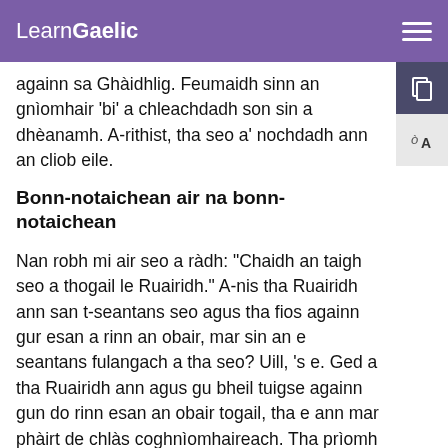LearnGaelic
againn sa Ghàidhlig. Feumaidh sinn an gnìomhair 'bi' a chleachdadh son sin a dhèanamh. A-rithist, tha seo a' nochdadh ann an cliob eile.
Bonn-notaichean air na bonn-notaichean
Nan robh mi air seo a ràdh: "Chaidh an taigh seo a thogail le Ruairidh." A-nis tha Ruairidh ann san t-seantans seo agus tha fios againn gur esan a rinn an obair, mar sin an e seantans fulangach a tha seo? Uill, 's e. Ged a tha Ruairidh ann agus gu bheil tuigse againn gun do rinn esan an obair togail, tha e ann mar phàirt de chlàs coghnìomhaireach. Tha prìomh bhrìgh an t-seantains fhathast fulangach: "Chaidh an taigh